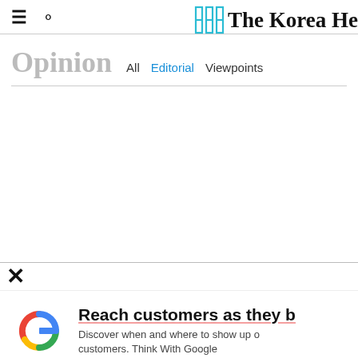The Korea Herald — Opinion | All | Editorial | Viewpoints
Opinion  All  Editorial  Viewpoints
[Figure (other): Google ad banner with Google 'G' logo and text: Reach customers as they b[rowse]. Discover when and where to show up o[nline to reach your] customers. Think With Google]
Reach customers as they b[rowse]
Discover when and where to show up o[nline to reach your] customers. Think With Google